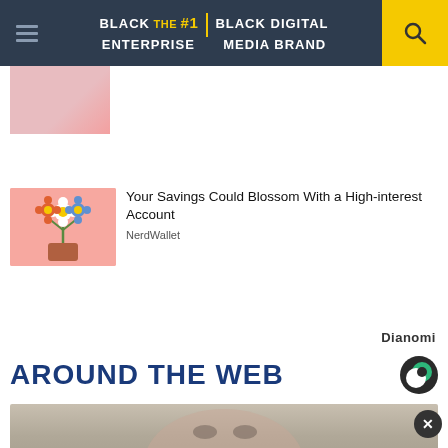BLACK ENTERPRISE THE #1 BLACK DIGITAL MEDIA BRAND
[Figure (photo): Partial thumbnail of an article image at top left, showing pink tones]
[Figure (illustration): Colorful illustrated flowers in a pot on pink background - NerdWallet ad thumbnail]
Your Savings Could Blossom With a High-interest Account
NerdWallet
Dianomi
AROUND THE WEB
[Figure (photo): Photo of a woman's face, partially visible, with dark hair]